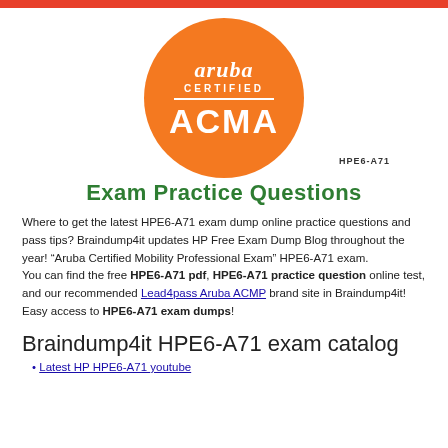[Figure (logo): Aruba Certified ACMA logo — orange circle with white text reading aruba CERTIFIED ACMA]
Exam Practice Questions
Where to get the latest HPE6-A71 exam dump online practice questions and pass tips? Braindump4it updates HP Free Exam Dump Blog throughout the year! “Aruba Certified Mobility Professional Exam” HPE6-A71 exam.
You can find the free HPE6-A71 pdf, HPE6-A71 practice question online test, and our recommended Lead4pass Aruba ACMP brand site in Braindump4it! Easy access to HPE6-A71 exam dumps!
Braindump4it HPE6-A71 exam catalog
Latest HP HPE6-A71 youtube